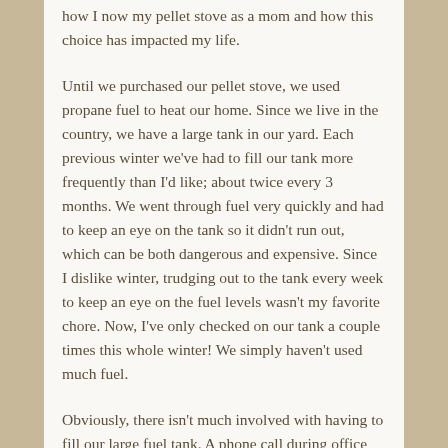how I now my pellet stove as a mom and how this choice has impacted my life.
Until we purchased our pellet stove, we used propane fuel to heat our home. Since we live in the country, we have a large tank in our yard. Each previous winter we've had to fill our tank more frequently than I'd like; about twice every 3 months. We went through fuel very quickly and had to keep an eye on the tank so it didn't run out, which can be both dangerous and expensive. Since I dislike winter, trudging out to the tank every week to keep an eye on the fuel levels wasn't my favorite chore. Now, I've only checked on our tank a couple times this whole winter! We simply haven't used much fuel.
Obviously, there isn't much involved with having to fill our large fuel tank. A phone call during office hours and